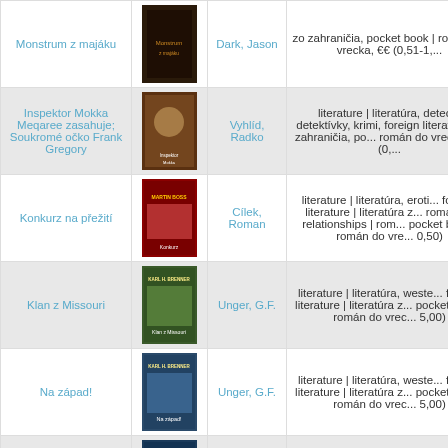| Title | Image | Author | Description |
| --- | --- | --- | --- |
| Monstrum z majáku | [cover] | Dark, Jason | zo zahraničia, pocket book | román do vrecka, €€ (0,51-1,...) |
| Inspektor Mokka Meqaree zasahuje; Soukromé očko Frank Gregory | [cover] | Vyhlíd, Radko | literature | literatúra, detec... detektívky, krimi, foreign literatúra zo zahraničia, po... román do vrecka, €€ (0,... |
| Konkurz na přežití | [cover] | Cílek, Roman | literature | literatúra, eroti... foreign literature | literatúra z... romance, relationships | rom... pocket book | román do vre... 0,50) |
| Klan z Missouri | [cover] | Unger, G.F. | literature | literatúra, weste... foreign literature | literatúra z... pocket book | román do vrec... 5,00) |
| Na západ! | [cover] | Unger, G.F. | literature | literatúra, weste... foreign literature | literatúra z... pocket book | román do vrec... 5,00) |
| V peřejích Yellowstonu | [cover] | Unger, G.F. | literature | literatúra, weste... foreign literature | literatúra z... pocket book | román do vrec... 5,00) |
| Opal City | [cover] | Unger, G.F. | literature | literatúra, weste... foreign literature | literatúra z... pocket book | román do vrec... 5,00) |